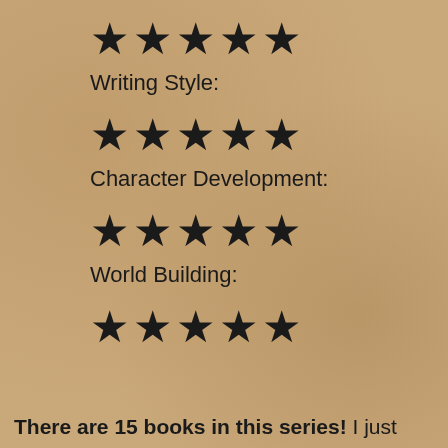★★★★★ (5 stars - Writing Style)
Writing Style:
★★★★★ (5 stars - Character Development)
Character Development:
★★★★★ (5 stars - World Building)
World Building:
★★★★★ (5 stars)
There are 15 books in this series! I just